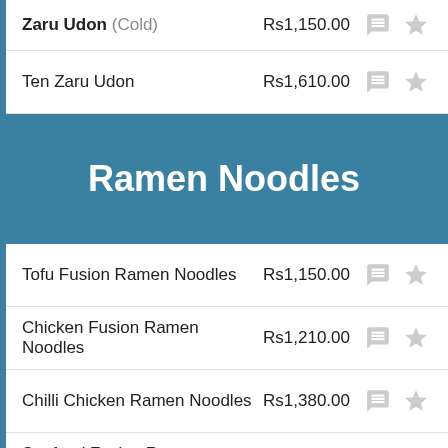Zaru Udon (Cold) — Rs1,150.00
Ten Zaru Udon — Rs1,610.00
Ramen Noodles
Tofu Fusion Ramen Noodles — Rs1,150.00
Chicken Fusion Ramen Noodles — Rs1,210.00
Chilli Chicken Ramen Noodles — Rs1,380.00
Seafood Fusion Ramen Noodles — Rs1,495.00
Beef Ramen Noodles — Rs1,380.00
Yakisoba Stir Fried Noodles